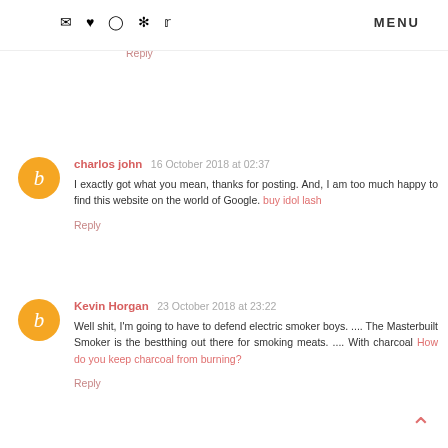MENU (icons: email, heart, instagram, pinterest, twitter)
is the one of a kind quintessence of our identity, similar to our mark or thumb print. it is only our own. my blog
Reply
charlos john  16 October 2018 at 02:37
I exactly got what you mean, thanks for posting. And, I am too much happy to find this website on the world of Google. buy idol lash
Reply
Kevin Horgan  23 October 2018 at 23:22
Well shit, I'm going to have to defend electric smoker boys.  .... The Masterbuilt Smoker is the bestthing out there for smoking meats.  .... With charcoal How do you keep charcoal from burning?
Reply